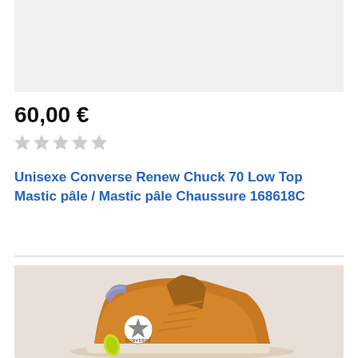[Figure (photo): Light gray background image area (partially visible product photo top)]
60,00 €
[Figure (other): Five empty/unfilled star rating icons in light gray]
Unisexe Converse Renew Chuck 70 Low Top Mastic pâle / Mastic pâle Chaussure 168618C
[Figure (photo): Orange/amber Converse Chuck Taylor high-top sneaker on a beige/light pink background, with yellow-green accent and Converse star logo patch visible]